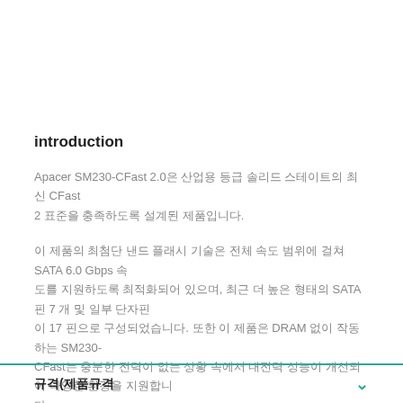introduction
Apacer SM230-CFast 2.0은 산업용 등급 솔리드 스테이트의 최신 CFast 2 표준을 충족하도록 설계된 제품입니다.
이 제품의 최첨단 낸드 플래시 기술은 전체 속도 범위에 걸쳐 SATA 6.0 Gbps 속도를 지원하도록 최적화되어 있으며, 최근 더 높은 형태의 SATA 핀 7 개 및 일부 단자핀 17 핀으로 구성되었습니다. 또한 이 제품은 DRAM 없이 작동하는 SM230-CFast는 충분한 전력이 없는 상황 속에서 내전력 성능이 개선되어 다양한 환경을 지원합니다.
규격(제품규격